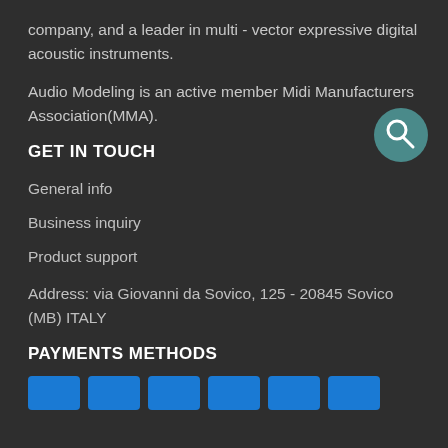company, and a leader in multi - vector expressive digital acoustic instruments.
Audio Modeling is an active member Midi Manufacturers Association(MMA).
GET IN TOUCH
General info
Business inquiry
Product support
Address: via Giovanni da Sovico, 125 - 20845 Sovico (MB) ITALY
PAYMENTS METHODS